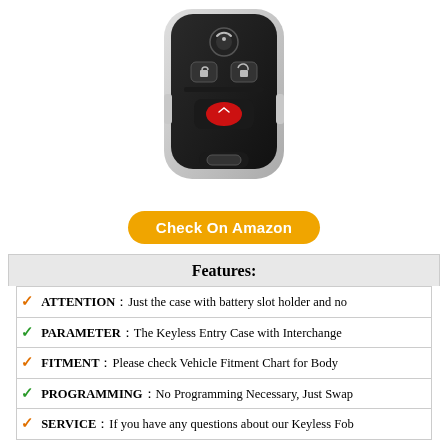[Figure (photo): Black key fob / keyless entry remote with 4 buttons (remote start, lock, unlock, red button) and silver trim]
Check On Amazon
Features:
ATTENTION：Just the case with battery slot holder and no
PARAMETER：The Keyless Entry Case with Interchange
FITMENT：Please check Vehicle Fitment Chart for Body
PROGRAMMING：No Programming Necessary, Just Swap
SERVICE：If you have any questions about our Keyless Fob
9. DORMAN 390030 – BATTERY HOLD DOWN BOLT – PART # 390-030